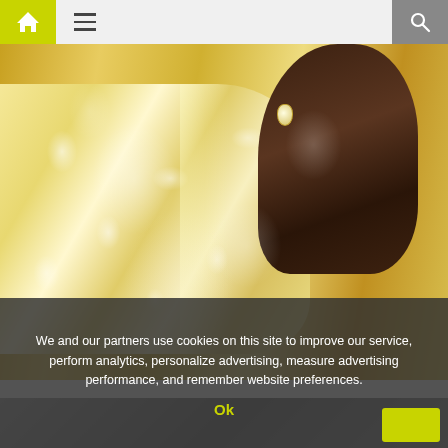Navigation bar with home, menu, and search icons
[Figure (photo): Woman wearing an ornate yellow/cream embroidered traditional South Asian garment (salwar kameez or similar), with gold and white floral embroidery. She has brown hair, pearl drop earrings, and a light complexion. The background is blurred warm yellow/gold tones.]
We and our partners use cookies on this site to improve our service, perform analytics, personalize advertising, measure advertising performance, and remember website preferences.
Ok
[Figure (photo): Partially visible second photo at the bottom of the page, appears to be a person, cropped and mostly obscured by the cookie banner.]